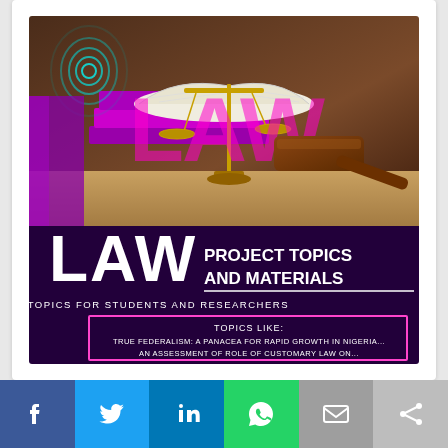[Figure (illustration): Law project topics and materials promotional image. Top half shows law books, scales of justice, and a wooden gavel on a table with dark brown background and the word 'LAW' in large pink/purple letters. Bottom half has a dark purple/black background with white text 'LAW PROJECT TOPICS AND MATERIALS', subtitle 'PROJECT TOPICS FOR STUDENTS AND RESEARCHERS', and a pink-bordered box showing 'TOPICS LIKE: TRUE FEDERALISM: A PANACEA FOR RAPID GROWTH IN NIGERIA...' A teal fingerprint/logo watermark is in the upper left.]
[Figure (infographic): Social sharing bar with six buttons: Facebook (blue), Twitter (light blue), LinkedIn (dark blue), WhatsApp (green), Email (grey), Share (light grey)]